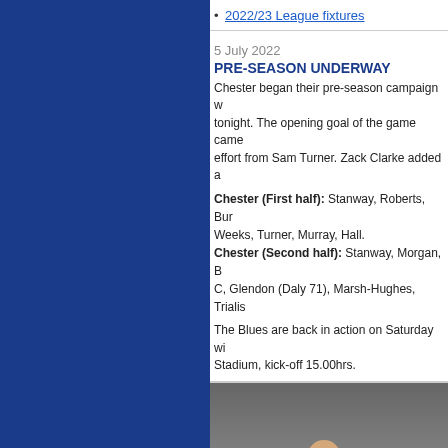2022/23 League fixtures
5 July 2022
PRE-SEASON UNDERWAY
Chester began their pre-season campaign w... tonight. The opening goal of the game came... effort from Sam Turner. Zack Clarke added a...
Chester (First half): Stanway, Roberts, Bur... Weeks, Turner, Murray, Hall. Chester (Second half): Stanway, Morgan, B... C, Glendon (Daly 71), Marsh-Hughes, Trialis...
The Blues are back in action on Saturday wh... Stadium, kick-off 15.00hrs.
[Figure (photo): A Chester FC player in red kit running on the pitch during pre-season, with crowd in the background and advertising hoardings visible.]